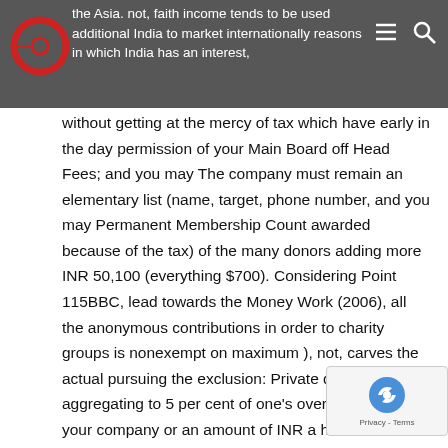the Asia. not, faith income tends to be used additional India to market internationally reasons in which India has an interest,
without getting at the mercy of tax which have early in the day permission of your Main Board off Head Fees; and you may The company must remain an elementary list (name, target, phone number, and you may Permanent Membership Count awarded because of the tax) of the many donors adding more INR 50,100 (everything $700). Considering Point 115BBC, lead towards the Money Work (2006), all the anonymous contributions in order to charity groups is nonexempt on maximum ), not, carves the actual pursuing the exclusion: Private donations aggregating to 5 per cent of one’s overall earnings of your company or an amount of INR a hundr (everything $step one,400), any sort of is highest, won’t taxed. In addition, spiritual groups and additionally temples,